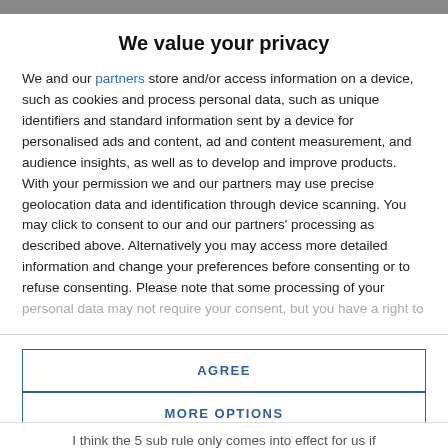We value your privacy
We and our partners store and/or access information on a device, such as cookies and process personal data, such as unique identifiers and standard information sent by a device for personalised ads and content, ad and content measurement, and audience insights, as well as to develop and improve products. With your permission we and our partners may use precise geolocation data and identification through device scanning. You may click to consent to our and our partners' processing as described above. Alternatively you may access more detailed information and change your preferences before consenting or to refuse consenting. Please note that some processing of your personal data may not require your consent, but you have a right to
AGREE
MORE OPTIONS
I think the 5 sub rule only comes into effect for us if